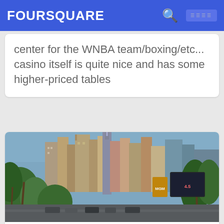FOURSQUARE
center for the WNBA team/boxing/etc... casino itself is quite nice and has some higher-priced tables
[Figure (photo): Street-level photo of the New York-New York Hotel & Casino on the Las Vegas Strip, showing the skyline replica with skyscrapers, palm trees in the foreground, and the MGM Grand sign visible on the right.]
4. New York-New York Hotel & Casino
3790 S Las Vegas Blvd (at W Tropicana Ave), ласвегас